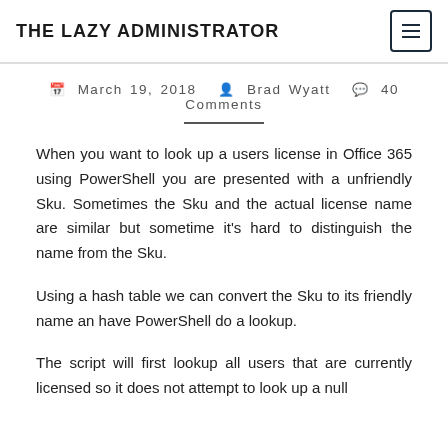THE LAZY ADMINISTRATOR
March 19, 2018  Brad Wyatt  40 Comments
When you want to look up a users license in Office 365 using PowerShell you are presented with a unfriendly Sku. Sometimes the Sku and the actual license name are similar but sometime it's hard to distinguish the name from the Sku.
Using a hash table we can convert the Sku to its friendly name an have PowerShell do a lookup.
The script will first lookup all users that are currently licensed so it does not attempt to look up a null